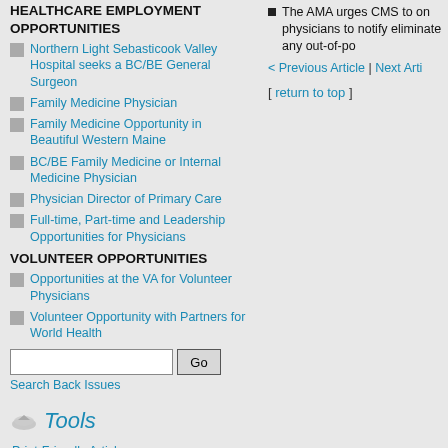HEALTHCARE EMPLOYMENT OPPORTUNITIES
Northern Light Sebasticook Valley Hospital seeks a BC/BE General Surgeon
Family Medicine Physician
Family Medicine Opportunity in Beautiful Western Maine
BC/BE Family Medicine or Internal Medicine Physician
Physician Director of Primary Care
Full-time, Part-time and Leadership Opportunities for Physicians
VOLUNTEER OPPORTUNITIES
Opportunities at the VA for Volunteer Physicians
Volunteer Opportunity with Partners for World Health
Search Back Issues
Tools
Print-Friendly Article
Print-Friendly Newsletter
Forward to a Friend
Forward Article
Email Version
The AMA urges CMS to on physicians to notify eliminate any out-of-po
< Previous Article | Next Arti
[ return to top ]